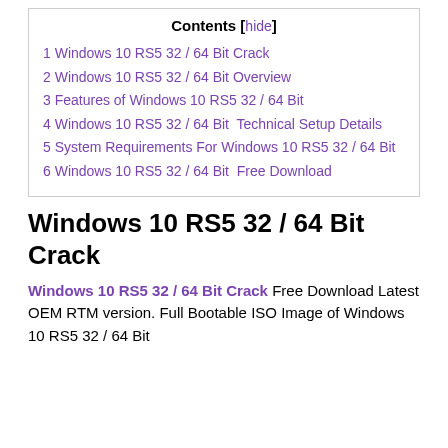Contents [hide]
1 Windows 10 RS5 32 / 64 Bit Crack
2 Windows 10 RS5 32 / 64 Bit Overview
3 Features of Windows 10 RS5 32 / 64 Bit
4 Windows 10 RS5 32 / 64 Bit  Technical Setup Details
5 System Requirements For Windows 10 RS5 32 / 64 Bit
6 Windows 10 RS5 32 / 64 Bit  Free Download
Windows 10 RS5 32 / 64 Bit Crack
Windows 10 RS5 32 / 64 Bit Crack Free Download Latest OEM RTM version. Full Bootable ISO Image of Windows 10 RS5 32 / 64 Bit